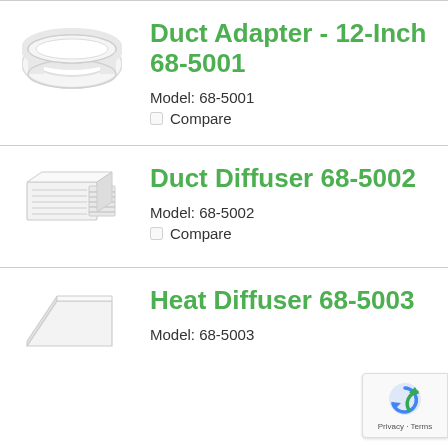[Figure (photo): White circular duct adapter ring, viewed from slightly above]
Duct Adapter - 12-Inch 68-5001
Model: 68-5001
Compare
[Figure (photo): White rectangular duct diffuser with louvered vents on side]
Duct Diffuser 68-5002
Model: 68-5002
Compare
[Figure (photo): White angled heat diffuser unit, partially visible]
Heat Diffuser 68-5003
Model: 68-5003